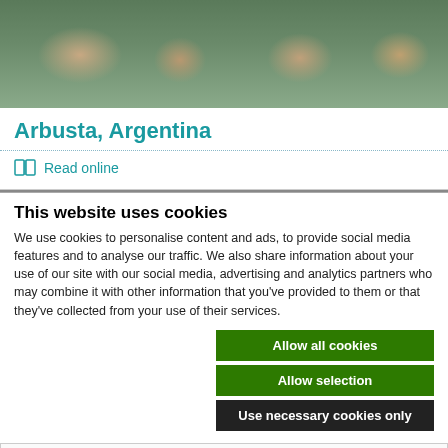[Figure (photo): Group photo of many people outdoors on grass, smiling and posing.]
Arbusta, Argentina
Read online
This website uses cookies
We use cookies to personalise content and ads, to provide social media features and to analyse our traffic. We also share information about your use of our site with our social media, advertising and analytics partners who may combine it with other information that you've provided to them or that they've collected from your use of their services.
Allow all cookies
Allow selection
Use necessary cookies only
Necessary   Preferences   Statistics   Marketing   Show details